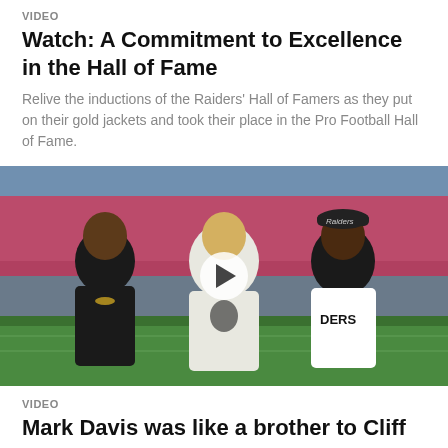VIDEO
Watch: A Commitment to Excellence in the Hall of Fame
Relive the inductions of the Raiders' Hall of Famers as they put on their gold jackets and took their place in the Pro Football Hall of Fame.
[Figure (photo): Three men posing on a football field in a stadium with pink-clad crowd in background. Left: man in black t-shirt with gold chain. Center: man in white Raiders jacket. Right: man wearing Raiders cap and RAIDERS jacket. A video play button overlay is visible in the center.]
VIDEO
Mark Davis was like a brother to Cliff